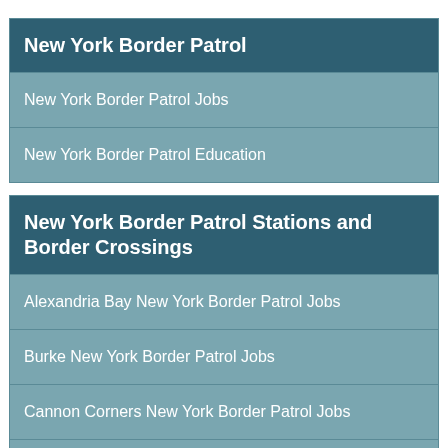New York Border Patrol
New York Border Patrol Jobs
New York Border Patrol Education
New York Border Patrol Stations and Border Crossings
Alexandria Bay New York Border Patrol Jobs
Burke New York Border Patrol Jobs
Cannon Corners New York Border Patrol Jobs
Champlain New York Border Patrol Jobs